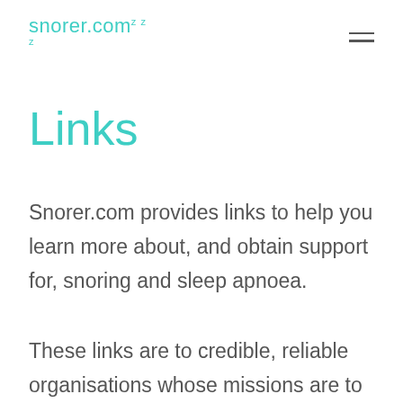snorer.com
Links
Snorer.com provides links to help you learn more about, and obtain support for, snoring and sleep apnoea.
These links are to credible, reliable organisations whose missions are to